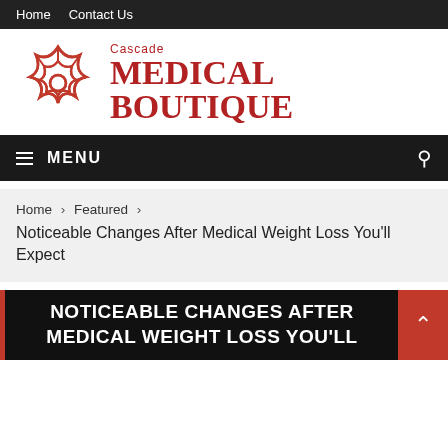Home  Contact Us
[Figure (logo): Cascade Medical Boutique logo with red snowflake/flower icon and red serif text reading 'Cascade MEDICAL BOUTIQUE']
≡ MENU
Home › Featured › Noticeable Changes After Medical Weight Loss You'll Expect
NOTICEABLE CHANGES AFTER MEDICAL WEIGHT LOSS YOU'LL